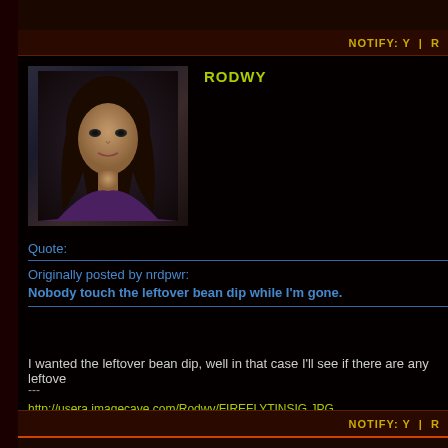NOTIFY: Y  |  R
RODWY
[Figure (photo): Avatar photo of a young woman with long dark hair]
Quote:
Originally posted by nrdpwr:
Nobody touch the leftover bean dip while I'm gone.
I wanted the leftover bean dip, well in that case I'll see if there are any leftove
---
http://usera.imagecave.com/Rodwy/FIREFLYTINSIG.JPG
http://www.phpbbforfree.com/forums/theinvaders.html
NOTIFY: Y  |  R